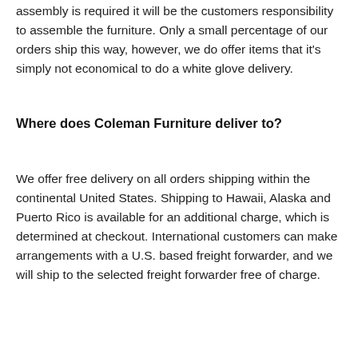assembly is required it will be the customers responsibility to assemble the furniture. Only a small percentage of our orders ship this way, however, we do offer items that it's simply not economical to do a white glove delivery.
Where does Coleman Furniture deliver to?
We offer free delivery on all orders shipping within the continental United States. Shipping to Hawaii, Alaska and Puerto Rico is available for an additional charge, which is determined at checkout. International customers can make arrangements with a U.S. based freight forwarder, and we will ship to the selected freight forwarder free of charge.